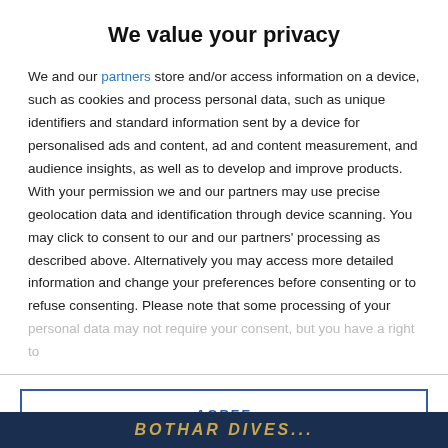We value your privacy
We and our partners store and/or access information on a device, such as cookies and process personal data, such as unique identifiers and standard information sent by a device for personalised ads and content, ad and content measurement, and audience insights, as well as to develop and improve products. With your permission we and our partners may use precise geolocation data and identification through device scanning. You may click to consent to our and our partners' processing as described above. Alternatively you may access more detailed information and change your preferences before consenting or to refuse consenting. Please note that some processing of your personal data may not require your consent, but you have a right to
AGREE
MORE OPTIONS
BOTHAR DIVES...